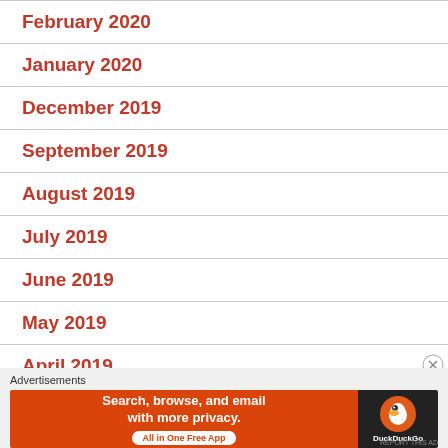February 2020
January 2020
December 2019
September 2019
August 2019
July 2019
June 2019
May 2019
April 2019
[Figure (infographic): DuckDuckGo advertisement banner: 'Search, browse, and email with more privacy. All in One Free App' with DuckDuckGo logo on dark background]